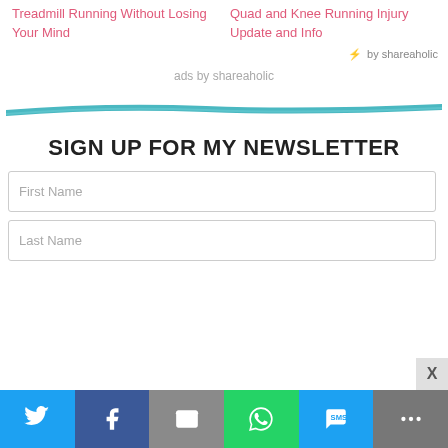Treadmill Running Without Losing Your Mind
Quad and Knee Running Injury Update and Info
by shareaholic
ads by shareaholic
[Figure (other): Teal diagonal decorative divider line]
SIGN UP FOR MY NEWSLETTER
First Name
Last Name
[Figure (infographic): Social sharing bar with Twitter, Facebook, Email, WhatsApp, SMS, and More buttons]